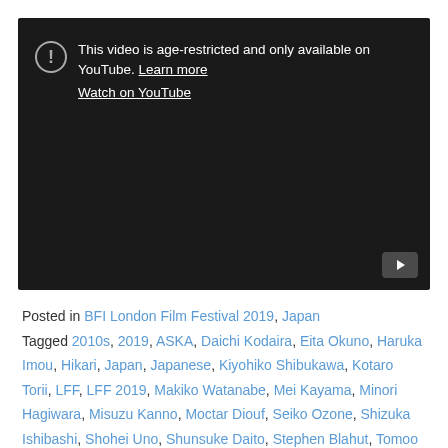[Figure (screenshot): YouTube age-restricted video embed showing dark background with exclamation icon, text 'This video is age-restricted and only available on YouTube. Learn more', 'Watch on YouTube' link, and YouTube play button in bottom right corner.]
Posted in BFI London Film Festival 2019, Japan
Tagged 2010s, 2019, ASKA, Daichi Kodaira, Eita Okuno, Haruka Imou, Hikari, Japan, Japanese, Kiyohiko Shibukawa, Kotaro Torii, LFF, LFF 2019, Makiko Watanabe, Mei Kayama, Minori Hagiwara, Misuzu Kanno, Moctar Diouf, Seiko Ozone, Shizuka Ishibashi, Shohei Uno, Shunsuke Daito, Stephen Blahut, Tomoo Ezaki, Toshinori Omi, Yoshihiko Kumashino, Yuka Itaya